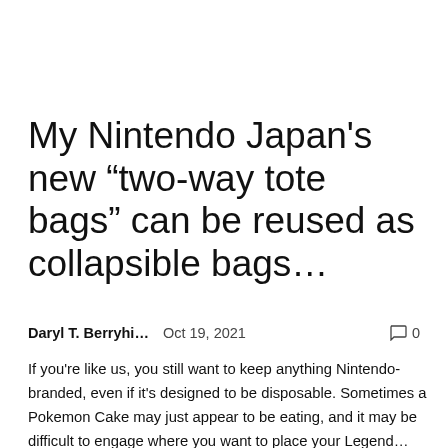My Nintendo Japan’s new “two-way tote bags” can be reused as collapsible bags…
Daryl T. Berryhi…    Oct 19, 2021    💬 0
If you're like us, you still want to keep anything Nintendo-branded, even if it's designed to be disposable. Sometimes a Pokemon Cake may just appear to be eating, and it may be difficult to engage where you want to place your Legend…
[Figure (screenshot): Screenshot from a Nintendo game showing colorful characters on a boat or dock on water, with red flags visible.]